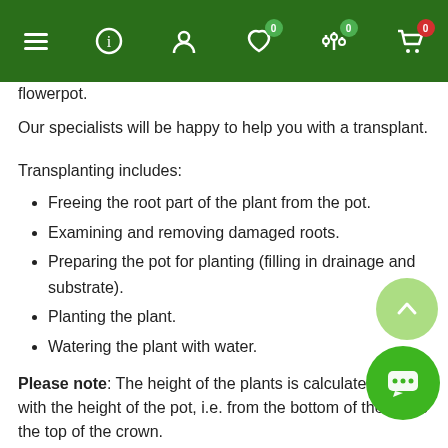Navigation bar with menu, info, account, favorites (0), filters (0), cart (0)
flowerpot.
Our specialists will be happy to help you with a transplant.
Transplanting includes:
Freeing the root part of the plant from the pot.
Examining and removing damaged roots.
Preparing the pot for planting (filling in drainage and substrate).
Planting the plant.
Watering the plant with water.
Please note: The height of the plants is calculated along with the height of the pot, i.e. from the bottom of the pot to the top of the crown.
The cost of transplantation does not include the cost of the pot and consumables: substrate, drainage, and other